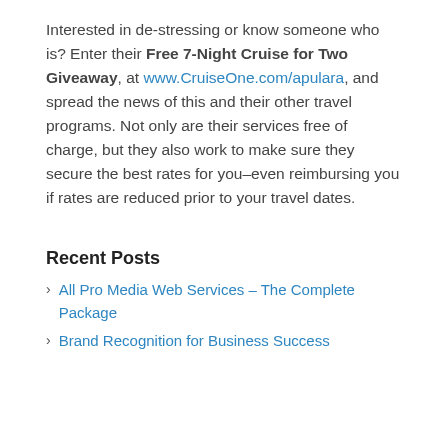Interested in de-stressing or know someone who is? Enter their Free 7-Night Cruise for Two Giveaway, at www.CruiseOne.com/apulara, and spread the news of this and their other travel programs. Not only are their services free of charge, but they also work to make sure they secure the best rates for you–even reimbursing you if rates are reduced prior to your travel dates.
Recent Posts
All Pro Media Web Services – The Complete Package
Brand Recognition for Business Success